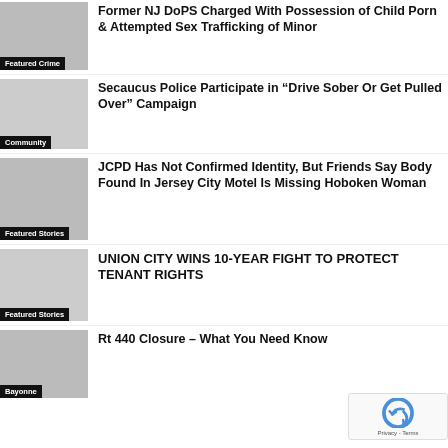Former NJ DoPS Charged With Possession of Child Porn & Attempted Sex Trafficking of Minor
Featured Crime
Secaucus Police Participate in “Drive Sober Or Get Pulled Over” Campaign
Community
JCPD Has Not Confirmed Identity, But Friends Say Body Found In Jersey City Motel Is Missing Hoboken Woman
Featured Stories
UNION CITY WINS 10-YEAR FIGHT TO PROTECT TENANT RIGHTS
Featured Stories
Rt 440 Closure – What You Need Know
Bayonne